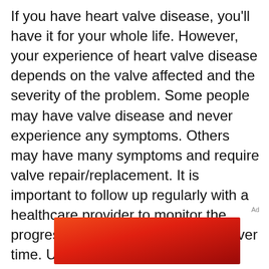If you have heart valve disease, you'll have it for your whole life. However, your experience of heart valve disease depends on the valve affected and the severity of the problem. Some people may have valve disease and never experience any symptoms. Others may have many symptoms and require valve repair/replacement. It is important to follow up regularly with a healthcare provider to monitor the progression of your valve disease over time. Untreated valve disease may eventually lead to:
Ad
[Figure (other): Red advertisement banner with gradient from bright red-orange on the left to darker red on the right]